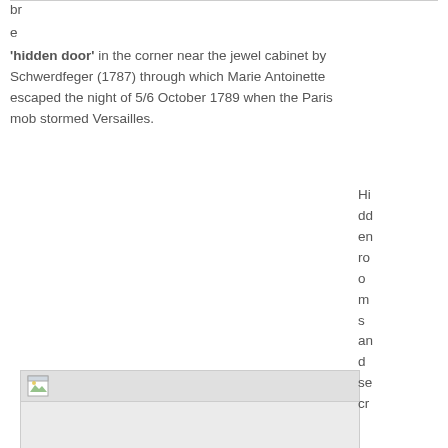br
e
'hidden door' in the corner near the jewel cabinet by Schwerdfeger (1787) through which Marie Antoinette escaped the night of 5/6 October 1789 when the Paris mob stormed Versailles.
[Figure (photo): Placeholder image box showing 'Secret room/hidden door' with a broken image icon in the title bar]
Secret room/hidden door
Hidden rooms and secret